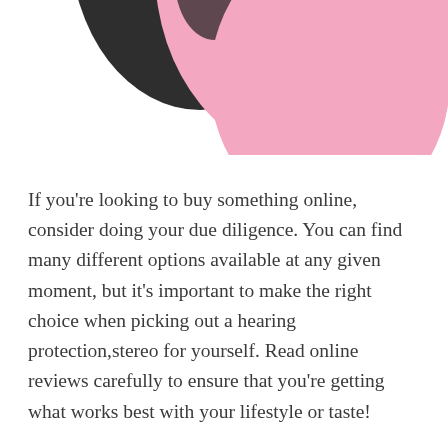[Figure (photo): Partial view of pink and dark/black circular objects (hearing protection earmuffs), cropped at the top of the page showing only the lower portion of the items.]
If you're looking to buy something online, consider doing your due diligence. You can find many different options available at any given moment, but it's important to make the right choice when picking out a hearing protection,stereo for yourself. Read online reviews carefully to ensure that you're getting what works best with your lifestyle or taste!